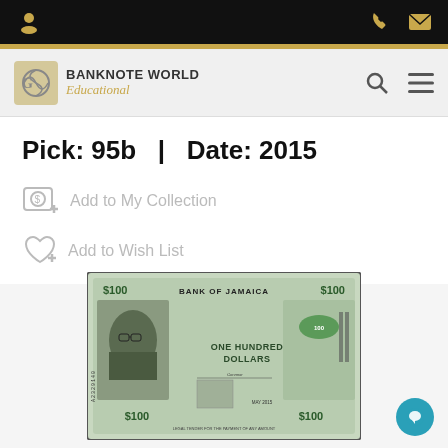Banknote World Educational – navigation bar with user, phone, and email icons
[Figure (logo): Banknote World Educational logo with stylized globe icon and text]
Pick: 95b  |  Date: 2015
Add to My Collection
Add to Wish List
[Figure (photo): Jamaica $100 banknote, front side – Bank of Jamaica One Hundred Dollars, Pick 95b, Date 2015]